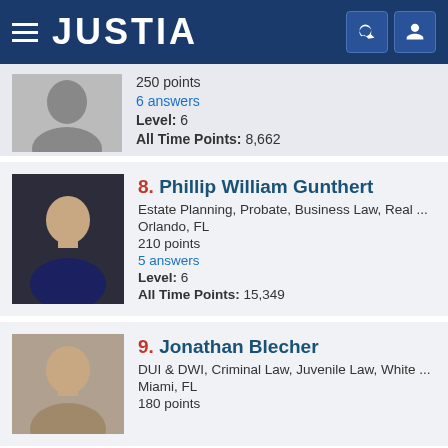JUSTIA
250 points
6 answers
Level: 6
All Time Points: 8,662
8. Phillip William Gunthert
Estate Planning, Probate, Business Law, Real ...
Orlando, FL
210 points
5 answers
Level: 6
All Time Points: 15,349
9. Jonathan Blecher
DUI & DWI, Criminal Law, Juvenile Law, White ...
Miami, FL
180 points